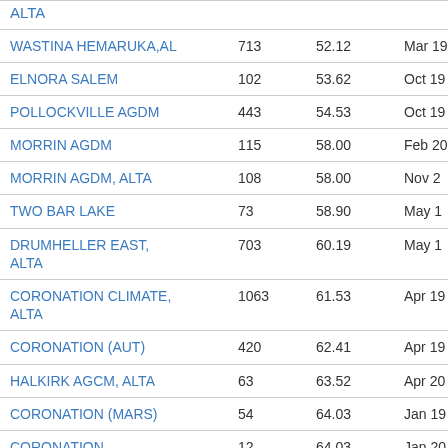| Station Name |  |  | Date |
| --- | --- | --- | --- |
| ALTA |  |  |  |
| WASTINA HEMARUKA,AL | 713 | 52.12 | Mar 19 |
| ELNORA SALEM | 102 | 53.62 | Oct 19 |
| POLLOCKVILLE AGDM | 443 | 54.53 | Oct 19 |
| MORRIN AGDM | 115 | 58.00 | Feb 20 |
| MORRIN AGDM, ALTA | 108 | 58.00 | Nov 2 |
| TWO BAR LAKE | 73 | 58.90 | May 1 |
| DRUMHELLER EAST, ALTA | 703 | 60.19 | May 1 |
| CORONATION CLIMATE, ALTA | 1063 | 61.53 | Apr 19 |
| CORONATION (AUT) | 420 | 62.41 | Apr 19 |
| HALKIRK AGCM, ALTA | 63 | 63.52 | Apr 20 |
| CORONATION (MARS) | 54 | 64.03 | Jan 19 |
| CORONATION | 12 | 64.03 | Jan 20 |
| BIG STONE LOCKHART | 172 | 64.99 | Nov 1 |